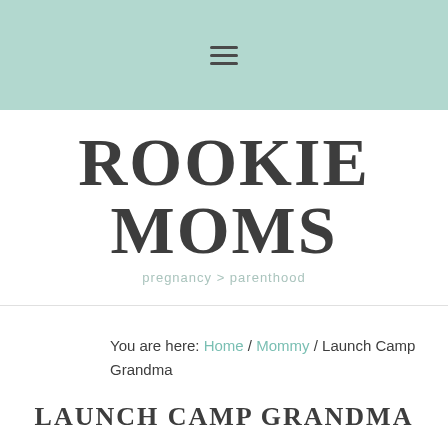≡
ROOKIE MOMS
pregnancy > parenthood
You are here: Home / Mommy / Launch Camp Grandma
LAUNCH CAMP GRANDMA